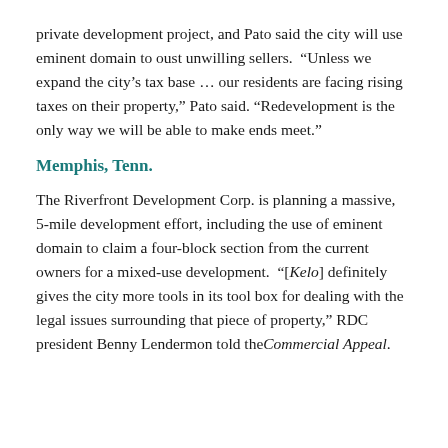private development project, and Pato said the city will use eminent domain to oust unwilling sellers. “Unless we expand the city’s tax base … our residents are facing rising taxes on their property,” Pato said. “Redevelopment is the only way we will be able to make ends meet.”
Memphis, Tenn.
The Riverfront Development Corp. is planning a massive, 5-mile development effort, including the use of eminent domain to claim a four-block section from the current owners for a mixed-use development. “[Kelo] definitely gives the city more tools in its tool box for dealing with the legal issues surrounding that piece of property,” RDC president Benny Lendermon told the Commercial Appeal.